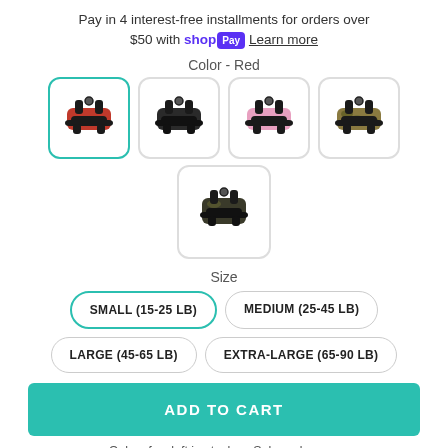Pay in 4 interest-free installments for orders over $50 with shopPay Learn more
Color - Red
[Figure (photo): Five dog harness color options: red (selected), black, pink, camouflage (top row), and another style (bottom center)]
Size
SMALL (15-25 LB)
MEDIUM (25-45 LB)
LARGE (45-65 LB)
EXTRA-LARGE (65-90 LB)
ADD TO CART
Only a few left in stock — Sale ends soon